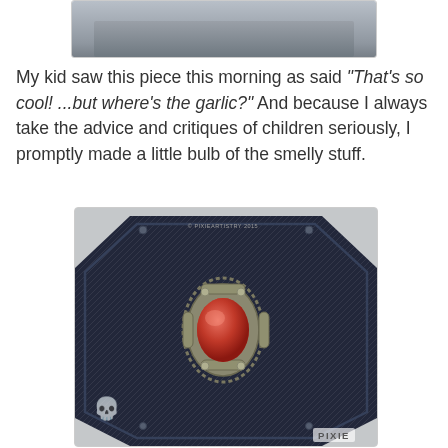[Figure (photo): Partial photo of a dark coffin-shaped box, cropped at top showing just the upper edge]
My kid saw this piece this morning as said "That's so cool! ...but where's the garlic?" And because I always take the advice and critiques of children seriously, I promptly made a little bulb of the smelly stuff.
[Figure (photo): Photo of a dark navy/black coffin-shaped decorative box with stitched edges, silver rivets at corners, and an ornate silver medallion with red stone in the center. A small skull decoration is visible on the lower left side. Watermark text and PIXIE label visible.]